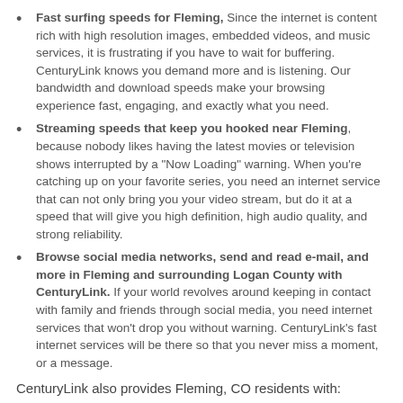Fast surfing speeds for Fleming, Since the internet is content rich with high resolution images, embedded videos, and music services, it is frustrating if you have to wait for buffering. CenturyLink knows you demand more and is listening. Our bandwidth and download speeds make your browsing experience fast, engaging, and exactly what you need.
Streaming speeds that keep you hooked near Fleming, because nobody likes having the latest movies or television shows interrupted by a "Now Loading" warning. When you're catching up on your favorite series, you need an internet service that can not only bring you your video stream, but do it at a speed that will give you high definition, high audio quality, and strong reliability.
Browse social media networks, send and read e-mail, and more in Fleming and surrounding Logan County with CenturyLink. If your world revolves around keeping in contact with family and friends through social media, you need internet services that won't drop you without warning. CenturyLink's fast internet services will be there so that you never miss a moment, or a message.
CenturyLink also provides Fleming, CO residents with:
Easy installation